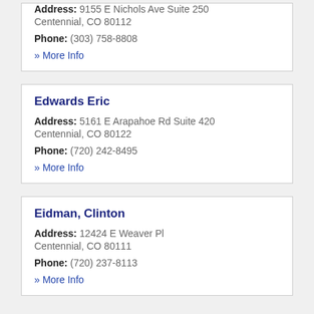Address: 9155 E Nichols Ave Suite 250 Centennial, CO 80112
Phone: (303) 758-8808
» More Info
Edwards Eric
Address: 5161 E Arapahoe Rd Suite 420 Centennial, CO 80122
Phone: (720) 242-8495
» More Info
Eidman, Clinton
Address: 12424 E Weaver Pl Centennial, CO 80111
Phone: (720) 237-8113
» More Info